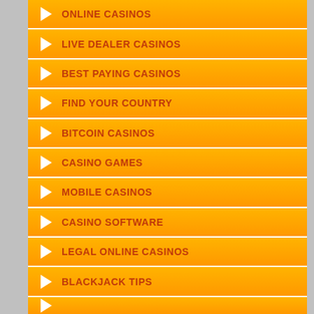ONLINE CASINOS
LIVE DEALER CASINOS
BEST PAYING CASINOS
FIND YOUR COUNTRY
BITCOIN CASINOS
CASINO GAMES
MOBILE CASINOS
CASINO SOFTWARE
LEGAL ONLINE CASINOS
BLACKJACK TIPS